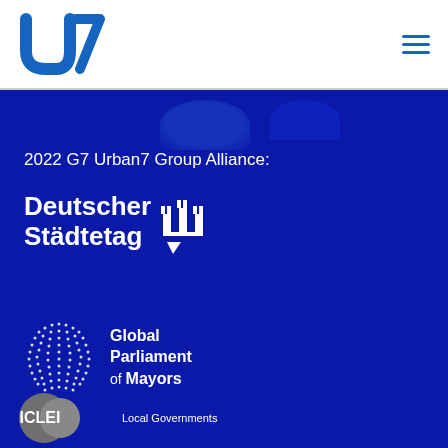[Figure (logo): U7 Urban7 logo in blue with stylized U and 7 characters]
[Figure (logo): Hamburger menu icon (three horizontal blue lines) in top right corner]
2022 G7 Urban7 Group Alliance:
[Figure (logo): Deutscher Städtetag logo - white bold text with castle/city icon on dark blue background]
[Figure (logo): Global Parliament of Mayors logo - circular dot pattern globe icon with white text on dark blue background]
[Figure (logo): ICLEI Local Governments logo - grey and white badge on dark blue background]